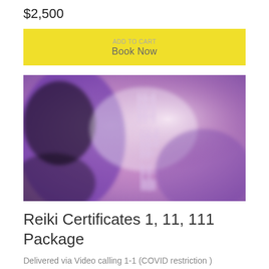$2,500
Book Now
[Figure (photo): Blurred purple/pink toned image with Japanese kanji characters visible]
Reiki Certificates 1, 11, 111 Package
Delivered via Video calling 1-1 (COVID restriction )